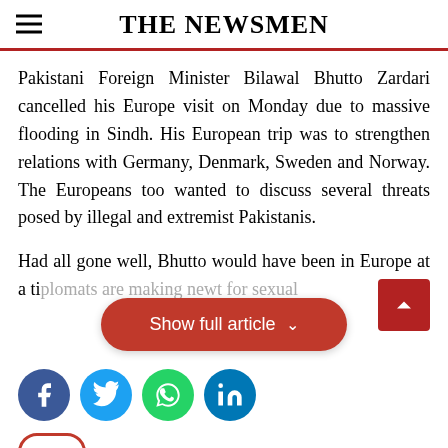THE NEWSMEN
Pakistani Foreign Minister Bilawal Bhutto Zardari cancelled his Europe visit on Monday due to massive flooding in Sindh. His European trip was to strengthen relations with Germany, Denmark, Sweden and Norway. The Europeans too wanted to discuss several threats posed by illegal and extremist Pakistanis.
Had all gone well, Bhutto would have been in Europe at a ti... diplomats are making new... t for sexual
[Figure (other): Red pill-shaped 'Show full article' button with chevron icon]
[Figure (other): Social share icons row: Facebook (blue), Twitter (light blue), WhatsApp (green), LinkedIn (dark blue). Red scroll-to-top button at right.]
[Figure (other): Red outlined oval with three dots (ellipsis/more options icon)]